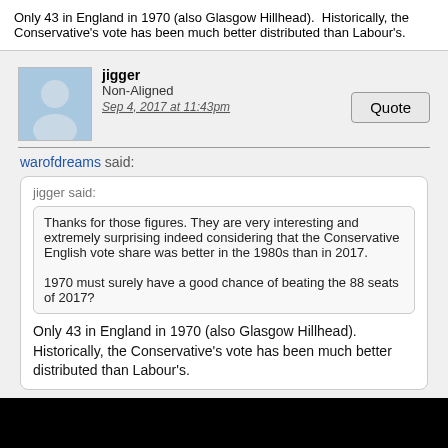Only 43 in England in 1970 (also Glasgow Hillhead).  Historically, the Conservative's vote has been much better distributed than Labour's.
jigger
Non-Aligned
Sep 4, 2017 at 11:43pm
warofdreams said:
jigger said:
Thanks for those figures. They are very interesting and extremely surprising indeed considering that the Conservative English vote share was better in the 1980s than in 2017.

1970 must surely have a good chance of beating the 88 seats of 2017?
Only 43 in England in 1970 (also Glasgow Hillhead).  Historically, the Conservative's vote has been much better distributed than Labour's.